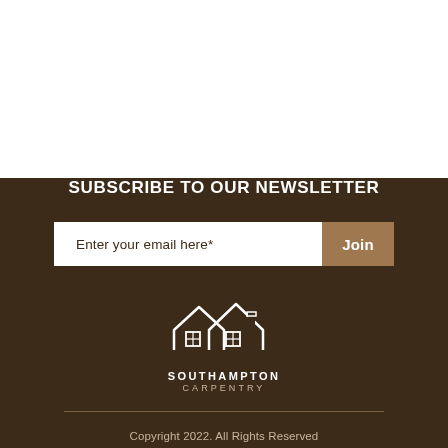SUBSCRIBE TO OUR NEWSLETTER
Enter your email here*
Join
[Figure (logo): Southampton Carpentry logo: two overlapping house outlines with window grids, white on brown background. Text: SOUTHAMPTON CARPENTRY]
Copyright 2022. All Rights Reserved